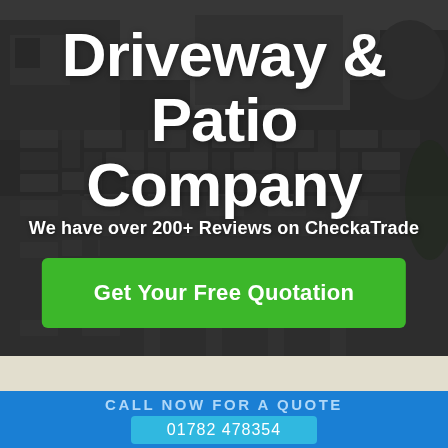[Figure (photo): Black and white photo of a herringbone-pattern block paved driveway with a house in the background, used as hero background image]
Driveway & Patio Company
We have over 200+ Reviews on CheckaTrade
Get Your Free Quotation
CALL NOW FOR A QUOTE
01782 478354